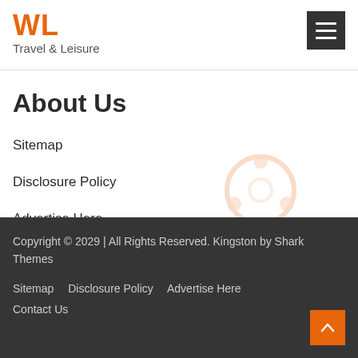WL Travel & Leisure
About Us
Sitemap
Disclosure Policy
Advertise Here
Contact Us
Copyright © 2029 | All Rights Reserved. Kingston by Shark Themes
Sitemap  Disclosure Policy  Advertise Here  Contact Us